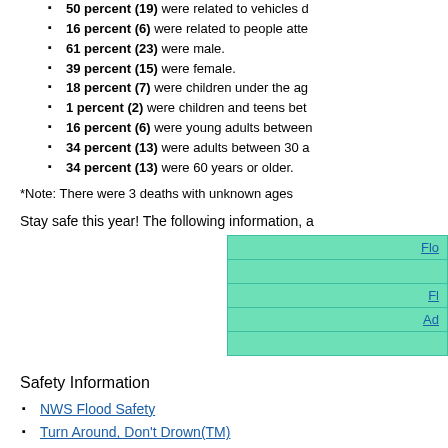50 percent (19) were related to vehicles d...
16 percent (6) were related to people atte...
61 percent (23) were male.
39 percent (15) were female.
18 percent (7) were children under the ag...
1 percent (2) were children and teens bet...
16 percent (6) were young adults between...
34 percent (13) were adults between 30 a...
34 percent (13) were 60 years or older.
*Note: There were 3 deaths with unknown ages...
Stay safe this year! The following information, a...
[Figure (other): Green table/box with partially visible hyperlinks: Flo..., Fl..., Ad...]
Safety Information
NWS Flood Safety
Turn Around, Don't Drown(TM)
Floodsmart: The National Flood Insurance...
Floodsmart: NOAA Flood Week Special
Ready.gov Flood Information